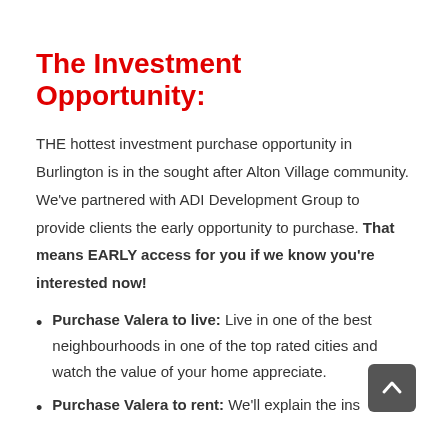The Investment Opportunity:
THE hottest investment purchase opportunity in Burlington is in the sought after Alton Village community. We've partnered with ADI Development Group to provide clients the early opportunity to purchase. That means EARLY access for you if we know you're interested now!
Purchase Valera to live: Live in one of the best neighbourhoods in one of the top rated cities and watch the value of your home appreciate.
Purchase Valera to rent: We'll explain the ins